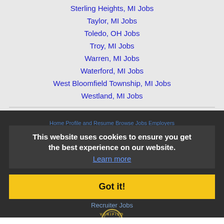Sterling Heights, MI Jobs
Taylor, MI Jobs
Toledo, OH Jobs
Troy, MI Jobs
Warren, MI Jobs
Waterford, MI Jobs
West Bloomfield Township, MI Jobs
Westland, MI Jobs
Home  Profile and Resume  Browse Jobs  Employers  Other Cities  Clients List  About Us  Contact Us  Help  Terms of Use  Register / Log In  Copyright © 2001 - 2022 Recruiter Media Corporation - Recruiter Jobs
This website uses cookies to ensure you get the best experience on our website. Learn more
Got it!